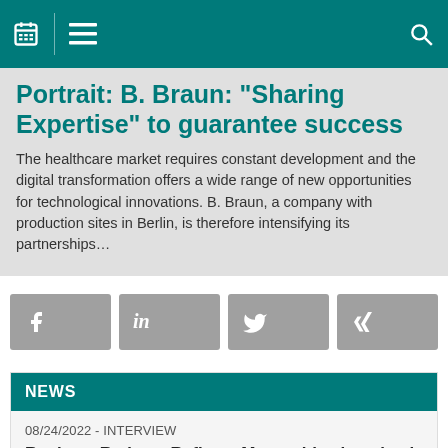Navigation bar with calendar, menu, and search icons
Portrait: B. Braun: "Sharing Expertise" to guarantee success
The healthcare market requires constant development and the digital transformation offers a wide range of new opportunities for technological innovations. B. Braun, a company with production sites in Berlin, is therefore intensifying its partnerships…
[Figure (infographic): Social sharing buttons: Facebook, LinkedIn, Twitter, XING]
NEWS
08/24/2022 - INTERVIEW
Replace, Reduce, Refine – More ethics in animal testing for tomorrow's medicine